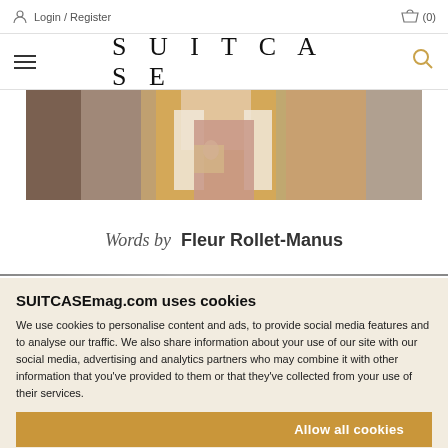Login / Register  (0)
SUITCASE
[Figure (photo): Cropped fashion photo showing a person wearing a cream blazer and pink/mauve dress, standing against a warm yellow-orange wall, holding a bag. Multiple partial views/panels.]
Words by  Fleur Rollet-Manus
SUITCASEmag.com uses cookies
We use cookies to personalise content and ads, to provide social media features and to analyse our traffic. We also share information about your use of our site with our social media, advertising and analytics partners who may combine it with other information that you've provided to them or that they've collected from your use of their services.
Allow all cookies